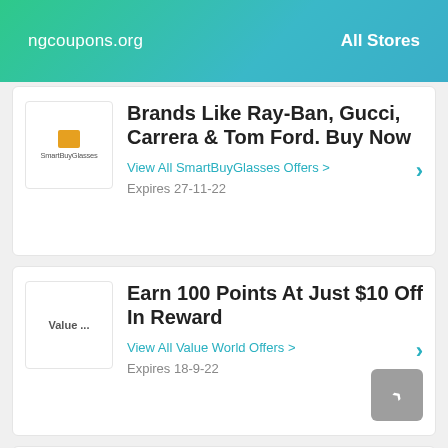ngcoupons.org   All Stores
Brands Like Ray-Ban, Gucci, Carrera & Tom Ford. Buy Now
View All SmartBuyGlasses Offers >
Expires 27-11-22
Earn 100 Points At Just $10 Off In Reward
View All Value World Offers >
Expires 18-9-22